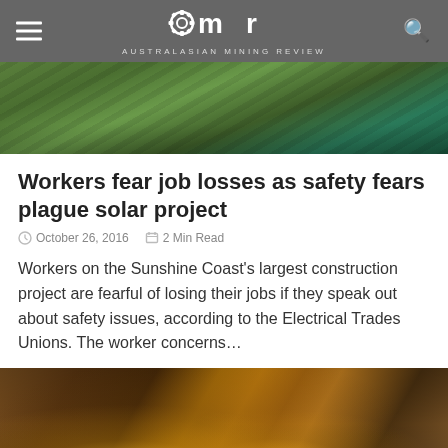AMR – Australasian Mining Review
[Figure (photo): Aerial view of a solar panel installation surrounded by green fields on the Sunshine Coast]
Workers fear job losses as safety fears plague solar project
October 26, 2016   2 Min Read
Workers on the Sunshine Coast's largest construction project are fearful of losing their jobs if they speak out about safety issues, according to the Electrical Trades Unions. The worker concerns…
[Figure (photo): Close-up of yellow mining helmet lamps mounted on equipment]